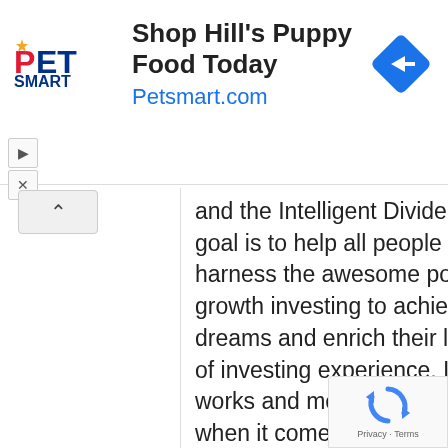[Figure (screenshot): PetSmart advertisement banner showing 'Shop Hill's Puppy Food Today Petsmart.com' with PetSmart logo and a blue navigation icon]
and the Intelligent Dividend Investor. My goal is to help all people learn how to harness the awesome power of dividend growth investing to achieve their financial dreams and enrich their lives. With 24 years of investing experience, I've learned what works and more importantly, what doesn't, when it comes to building long-term wealth and income streams and achieving long-term financial goals.